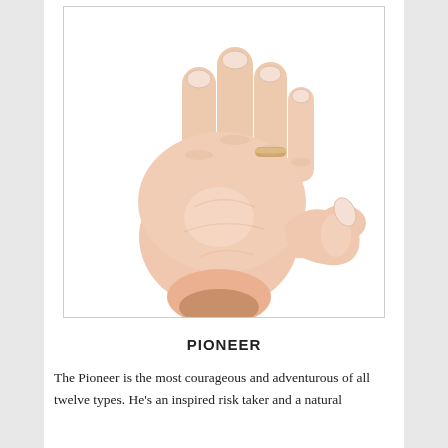[Figure (photo): An open palm of a human hand shown facing outward, fingers spread, with a ring on the ring finger. The hand is photographed against a white background.]
PIONEER
The Pioneer is the most courageous and adventurous of all twelve types. He's an inspired risk taker and a natural born front-runner who tends to be the youngest or most adventurous of the siblings.